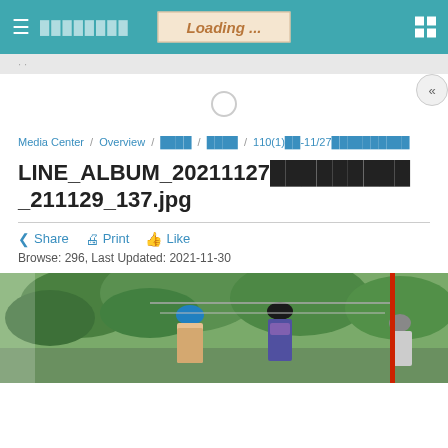≡ ░░░░░░░░   Loading ...   ⊞
· ·                                                        «
Media Center / Overview / ░░░░ / ░░░░ / 110(1)░░-11/27░░░░░░░░░░░
LINE_ALBUM_20211127░░░░░░░░░░_211129_137.jpg
< Share  🖨 Print  👍 Like
Browse: 296, Last Updated: 2021-11-30
[Figure (photo): Outdoor scene showing people working near trees, one person wearing a blue hard hat, another in a black cap and purple mask, a third person partially visible on the right, with a red pole/marker visible]